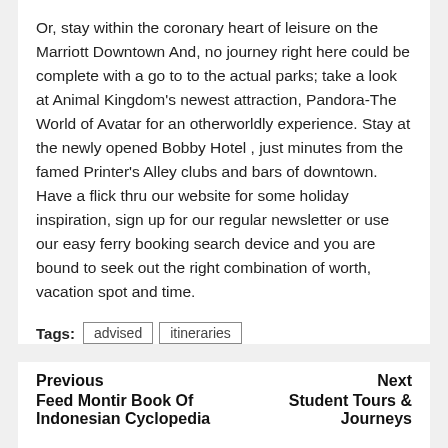Or, stay within the coronary heart of leisure on the Marriott Downtown And, no journey right here could be complete with a go to to the actual parks; take a look at Animal Kingdom's newest attraction, Pandora-The World of Avatar for an otherworldly experience. Stay at the newly opened Bobby Hotel , just minutes from the famed Printer's Alley clubs and bars of downtown. Have a flick thru our website for some holiday inspiration, sign up for our regular newsletter or use our easy ferry booking search device and you are bound to seek out the right combination of worth, vacation spot and time.
Tags: advised itineraries
Previous
Feed Montir Book Of Indonesian Cyclopedia
Next
Student Tours & Journeys
MORE STORIES